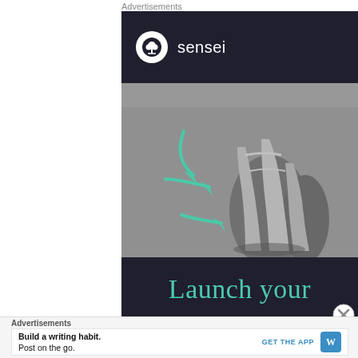Advertisements
[Figure (illustration): Sensei app advertisement showing logo at top with dark navy background, a central image of ballet dancer feet in pointe shoes on grey background with three teal curved arrows pointing right, and bottom dark bar with teal serif text reading 'Launch your']
Advertisements
Build a writing habit. Post on the go.
GET THE APP